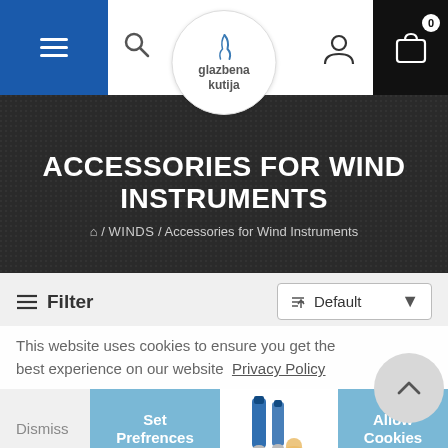glazbena kutija — navigation header with hamburger menu, search, logo, user icon, cart
ACCESSORIES FOR WIND INSTRUMENTS
🏠 / WINDS / Accessories for Wind Instruments
Filter
Default
This website uses cookies to ensure you get the best experience on our website  Privacy Policy
Dismiss
Set Prefrences
Allow Cookies
[Figure (photo): Product image partially visible — white container/bottle labeled 'Al Cass FAST' with product details]
[Figure (photo): Product image showing blue dropper bottles and accessories for wind instruments]